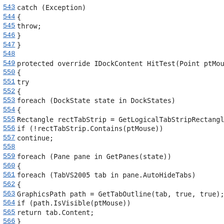543 catch (Exception)
544 {
545 throw;
546 }
547 }
548
549 protected override IDockContent HitTest(Point ptMouse)
550 {
551 try
552 {
553 foreach (DockState state in DockStates)
554 {
555 Rectangle rectTabStrip = GetLogicalTabStripRectangle(state, tru
556 if (!rectTabStrip.Contains(ptMouse))
557 continue;
558
559 foreach (Pane pane in GetPanes(state))
560 {
561 foreach (TabVS2005 tab in pane.AutoHideTabs)
562 {
563 GraphicsPath path = GetTabOutline(tab, true, true);
564 if (path.IsVisible(ptMouse))
565 return tab.Content;
566 }
567 }